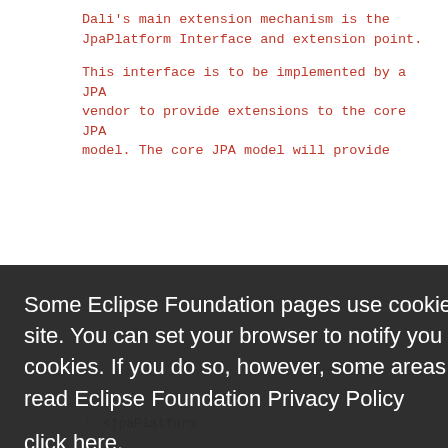Dali's main extension mechanism is the JpaPlatform Interface and extension point.

This interface is to be implemented by a JPA vendor to provide extensions to the core JPA model. The core JPA model will provide
Some Eclipse Foundation pages use cookies to better serve you when you return to the site. You can set your browser to notify you before you receive a cookie or turn off cookies. If you do so, however, some areas of some sites may not function properly. To read Eclipse Foundation Privacy Policy click here.
<jpaPlatform